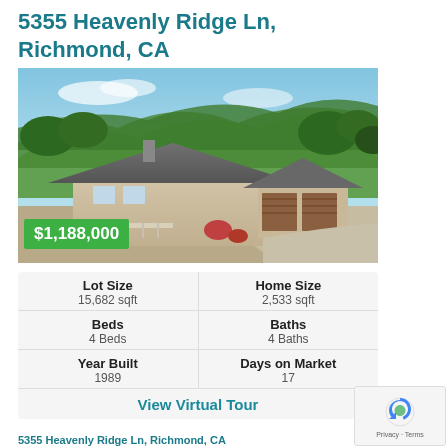5355 Heavenly Ridge Ln, Richmond, CA
[Figure (photo): Aerial/elevated exterior photo of a large single-story home with gray roof, beige siding, multiple garage doors, surrounded by green hills and trees. Price overlay: $1,188,000 in green badge.]
| Label | Value |
| --- | --- |
| Lot Size | 15,682 sqft |
| Home Size | 2,533 sqft |
| Beds | 4 Beds |
| Baths | 4 Baths |
| Year Built | 1989 |
| Days on Market | 17 |
View Virtual Tour
5355 Heavenly Ridge Ln, Richmond, CA